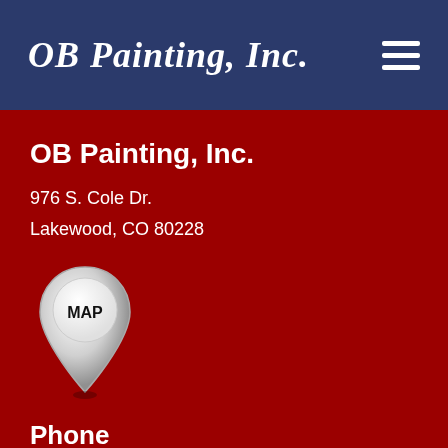OB Painting, Inc.
OB Painting, Inc.
976 S. Cole Dr.
Lakewood, CO 80228
[Figure (illustration): Map pin / location marker icon with 'MAP' text inside a white circle at the top of the pin]
Phone
303-908-9063
Email